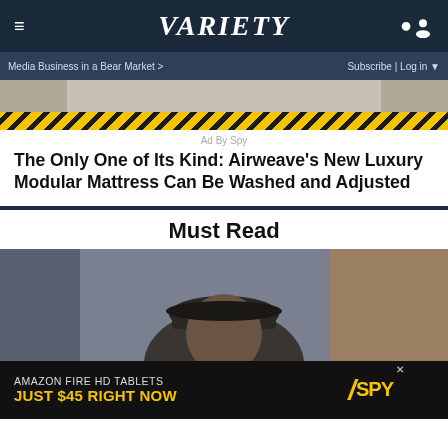Variety
Media Business in a Bear Market > | Subscribe | Log in
[Figure (photo): Partial image of a mattress advertisement with yellow and black diagonal hazard stripes at the bottom]
Ad By Spy
The Only One of Its Kind: Airweave's New Luxury Modular Mattress Can Be Washed and Adjusted
Must Read
[Figure (photo): Photo of an older man wearing a dark flat cap, cropped showing his face and upper body]
[Figure (photo): Bottom advertisement banner: AMAZON FIRE HD TABLETS JUST $45 RIGHT NOW with SPY logo]